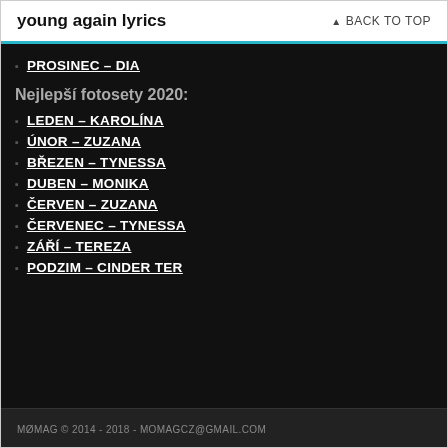young again lyrics
PROSINEC – DIA
Nejlepší fotosety 2020:
LEDEN – KAROLÍNA
ÚNOR – ZUZANA
BŘEZEN – TYNESSA
DUBEN – MONIKA
ČERVEN – ZUZANA
ČERVENEC – TYNESSA
ZÁŘÍ – TEREZA
PODZIM – CINDER TER
MØMAG © 2014 - 2018 - MOMAGCZ@GMAIL.COM